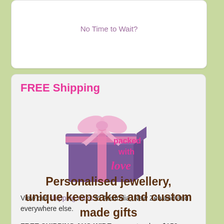No Time to Wait?
FREE Shipping
[Figure (illustration): A purple wrapped gift box with pink ribbon and bow, with text 'packed with love' in pink cursive.]
View our shipping rates to Australia, New Zealand and everywhere else.
FREE SHIPPING AUS-WIDE on most orders $150 or over!
Personalised jewellery, unique keepsakes and custom made gifts